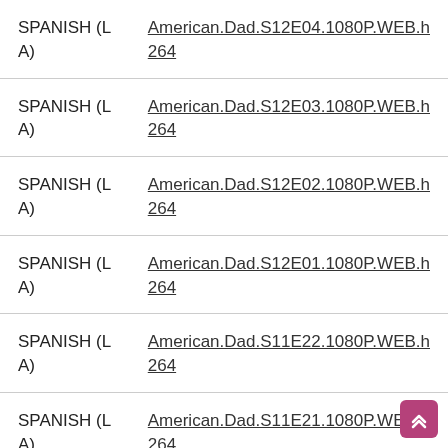| Language | File |
| --- | --- |
| SPANISH (LA) | American.Dad.S12E04.1080P.WEB.h264 |
| SPANISH (LA) | American.Dad.S12E03.1080P.WEB.h264 |
| SPANISH (LA) | American.Dad.S12E02.1080P.WEB.h264 |
| SPANISH (LA) | American.Dad.S12E01.1080P.WEB.h264 |
| SPANISH (LA) | American.Dad.S11E22.1080P.WEB.h264 |
| SPANISH (LA) | American.Dad.S11E21.1080P.WEB.h264 |